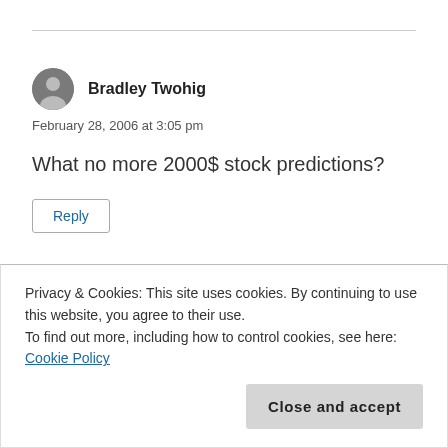Bradley Twohig
February 28, 2006 at 3:05 pm
What no more 2000$ stock predictions?
Reply
Privacy & Cookies: This site uses cookies. By continuing to use this website, you agree to their use.
To find out more, including how to control cookies, see here: Cookie Policy
Close and accept
CFO — isn't that the chef?